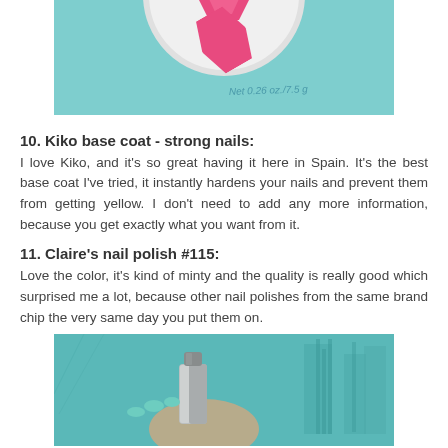[Figure (photo): Close-up photo of a circular nail product label reading 'Net 0.26 oz./7.5 g' on a teal/blue background with a pink geometric shape visible]
10. Kiko base coat - strong nails:
I love Kiko, and it's so great having it here in Spain. It's the best base coat I've tried, it instantly hardens your nails and prevent them from getting yellow. I don't need to add any more information, because you get exactly what you want from it.
11. Claire's nail polish #115:
Love the color, it's kind of minty and the quality is really good which surprised me a lot, because other nail polishes from the same brand chip the very same day you put them on.
[Figure (photo): Photo of a hand holding a small metallic/silver nail polish bottle with a minty teal color on nails, teal background]